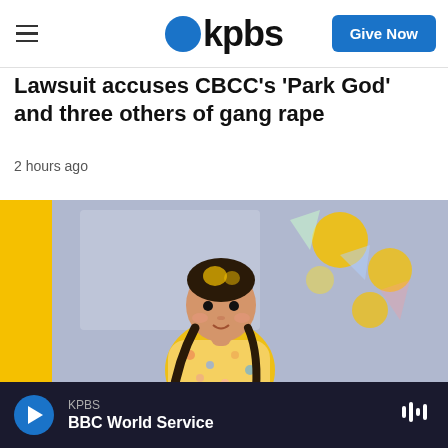kpbs | Give Now
Lawsuit accuses CBCC's 'Park God' and three others of gang rape
2 hours ago
[Figure (illustration): Illustrated artwork showing a young girl with braided dark hair wearing a colorful patterned outfit, standing against a blue-gray textured background with yellow accents and abstract floral/geometric shapes in the background.]
KPBS — BBC World Service (audio player bar)